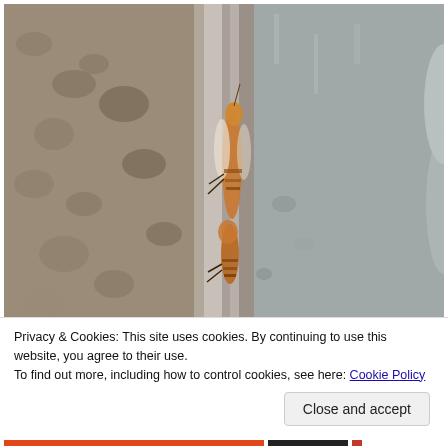[Figure (photo): Close-up macro photograph of cicada insects on a grey textured surface, showing detailed view of insects between two surfaces with blurred background]
Privacy & Cookies: This site uses cookies. By continuing to use this website, you agree to their use.
To find out more, including how to control cookies, see here: Cookie Policy